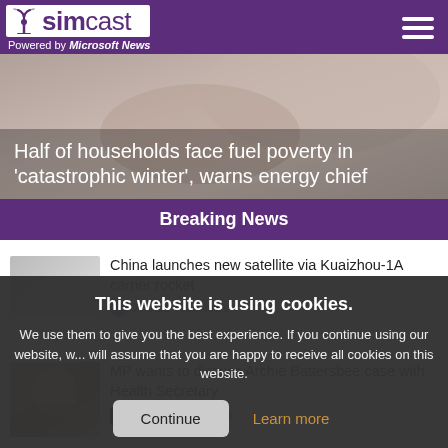simcast — Powered by Microsoft News
[Figure (photo): Hero image with blurred background showing hands, with headline overlay: Half of households face fuel poverty in 'catastrophic winter', warns energy chief]
Half of households face fuel poverty in 'catastrophic winter', warns energy chief
Breaking News
China launches new satellite via Kuaizhou-1A carrier rocket
Xinhua TechNews
This website is using cookies.
We use them to give you the best experience. If you continue using our website, we will assume that you are happy to receive all cookies on this website.
Continue
Learn more
MP wants to discuss Archie Battersbee case with Health Secretary
Evening Standard